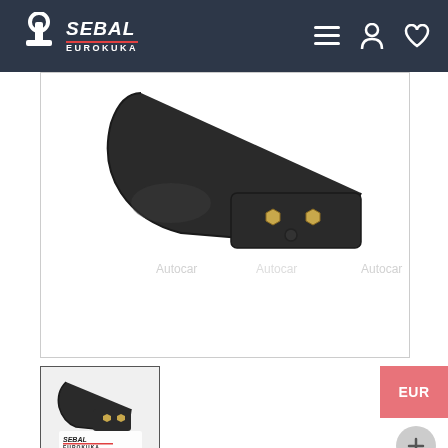SEBAL EUROKUKA
[Figure (photo): Product photo of a tow hitch/towbar fitting (Eurokuka Sebal EU3) shown from above against white background, with Autocar watermarks visible]
[Figure (photo): Thumbnail image of tow hitch product with Sebal Eurokuka logo overlay]
EUROKUKA SEBAL EU3 CITROEN C3 2002-2009
ADDITIONAL INFORMATION